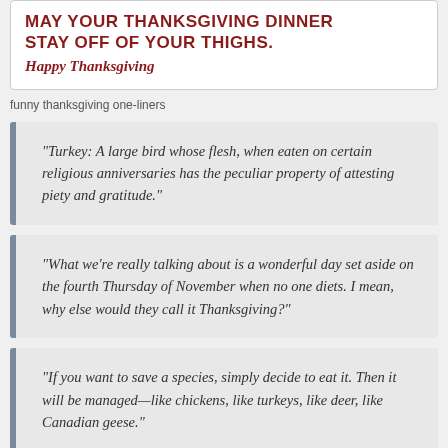MAY YOUR THANKSGIVING DINNER STAY OFF OF YOUR THIGHS. Happy Thanksgiving
funny thanksgiving one-liners
“Turkey: A large bird whose flesh, when eaten on certain religious anniversaries has the peculiar property of attesting piety and gratitude.”
“What we’re really talking about is a wonderful day set aside on the fourth Thursday of November when no one diets. I mean, why else would they call it Thanksgiving?”
“If you want to save a species, simply decide to eat it. Then it will be managed—like chickens, like turkeys, like deer, like Canadian geese.”